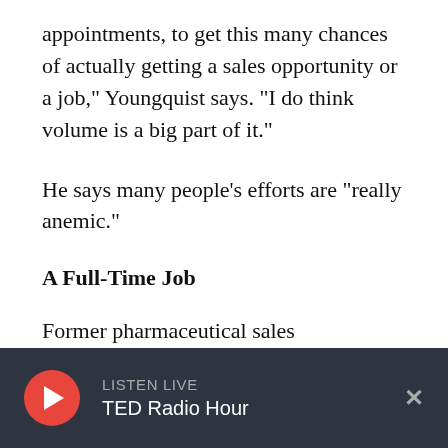appointments, to get this many chances of actually getting a sales opportunity or a job," Youngquist says. "I do think volume is a big part of it."
He says many people's efforts are "really anemic."
A Full-Time Job
Former pharmaceutical sales representative Camilo Ruan says the smartest thing he did in his job search was treating the hunt for work as a job.
LISTEN LIVE TED Radio Hour